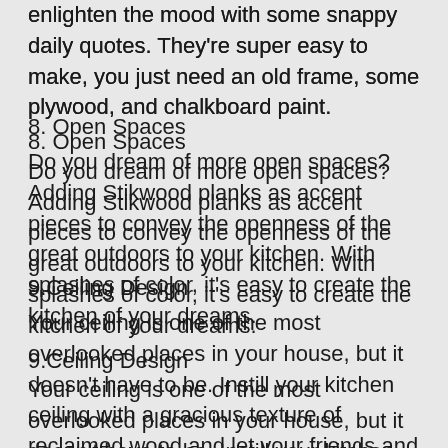enlighten the mood with some snappy daily quotes. They're super easy to make, you just need an old frame, some plywood, and chalkboard paint.
8. Open Spaces
Do you dream of more open spaces? Adding Stikwood planks as accent pieces to convey the openness of the great outdoors to your kitchen. With splashes of color, it's easy to create the kitchen of your dreams.
9.Ceiling Design
Your ceiling is one of the most overlooked places in your house, but it doesn't have to be. Instill your kitchen ceiling with a gracious texture of reclaimed wood and let your friends and family wonder how you came up with this brilliant idea.
10. Wooden Message Board
Message boards are excellent for family settings. This practical, cute decor built from reclaimed wood and rooster wire is perfect for any type of kitchen.